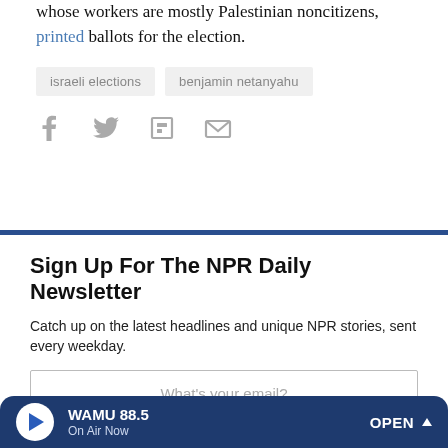A printing house in an Israeli settlement in the West Bank, whose workers are mostly Palestinian noncitizens, printed ballots for the election.
israeli elections
benjamin netanyahu
[Figure (other): Social share icons: Facebook, Twitter, Flipboard, Email]
Sign Up For The NPR Daily Newsletter
Catch up on the latest headlines and unique NPR stories, sent every weekday.
What's your email?
WAMU 88.5  On Air Now  OPEN